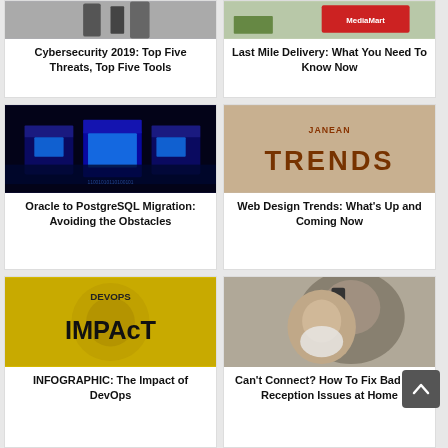[Figure (screenshot): Cybersecurity 2019 article card with image showing dark background with tool silhouettes]
Cybersecurity 2019: Top Five Threats, Top Five Tools
[Figure (screenshot): Last Mile Delivery article card with image showing a Media Markt delivery truck]
Last Mile Delivery: What You Need To Know Now
[Figure (screenshot): Oracle to PostgreSQL Migration article card with blue-lit computer monitors]
Oracle to PostgreSQL Migration: Avoiding the Obstacles
[Figure (screenshot): Web Design Trends article card showing TRENDS text made of sewing pins]
Web Design Trends: What's Up and Coming Now
[Figure (screenshot): DevOps Impact infographic article card with yellow background and IMPACT text]
INFOGRAPHIC: The Impact of DevOps
[Figure (screenshot): Cell reception article card showing elderly man talking on mobile phone]
Can't Connect? How To Fix Bad Cell Reception Issues at Home
[Figure (screenshot): Partially visible bottom-left article card]
[Figure (screenshot): Partially visible bottom-right article card with Cole Smithey text]